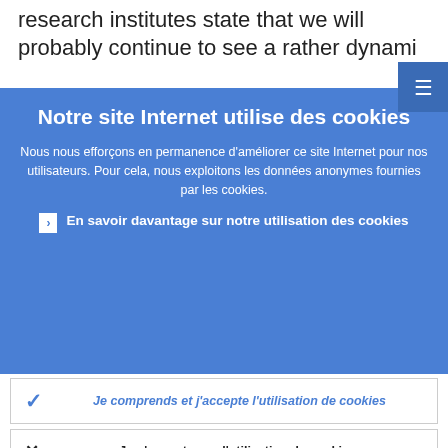research institutes state that we will probably continue to see a rather dynami…
Notre site Internet utilise des cookies
Nous nous efforçons en permanence d'améliorer ce site Internet pour nos utilisateurs. Pour cela, nous exploitons les données anonymes fournies par les cookies.
▶ En savoir davantage sur notre utilisation des cookies
✓ Je comprends et j'accepte l'utilisation de cookies
✕ Je n'accepte pas l'utilisation de cookies